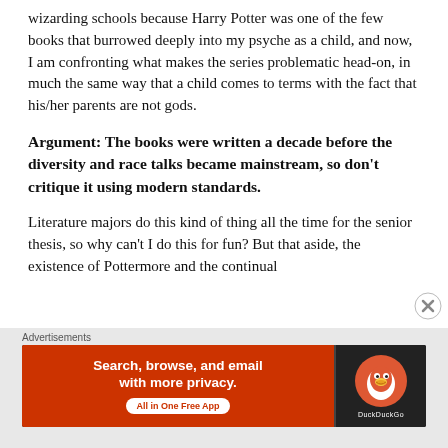wizarding schools because Harry Potter was one of the few books that burrowed deeply into my psyche as a child, and now, I am confronting what makes the series problematic head-on, in much the same way that a child comes to terms with the fact that his/her parents are not gods.
Argument: The books were written a decade before the diversity and race talks became mainstream, so don't critique it using modern standards.
Literature majors do this kind of thing all the time for the senior thesis, so why can't I do this for fun? But that aside, the existence of Pottermore and the continual
Advertisements
[Figure (infographic): DuckDuckGo advertisement banner: orange-red left panel with text 'Search, browse, and email with more privacy. All in One Free App', and dark right panel with DuckDuckGo duck logo circle.]